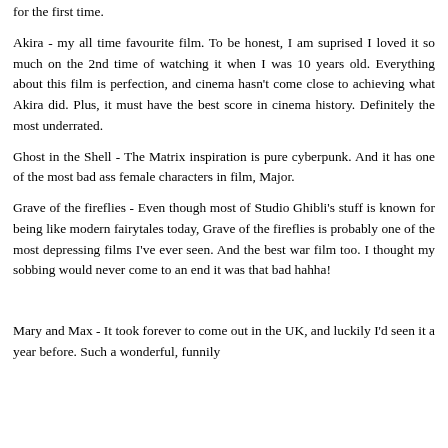for the first time.
Akira - my all time favourite film. To be honest, I am suprised I loved it so much on the 2nd time of watching it when I was 10 years old. Everything about this film is perfection, and cinema hasn't come close to achieving what Akira did. Plus, it must have the best score in cinema history. Definitely the most underrated.
Ghost in the Shell - The Matrix inspiration is pure cyberpunk. And it has one of the most bad ass female characters in film, Major.
Grave of the fireflies - Even though most of Studio Ghibli's stuff is known for being like modern fairytales today, Grave of the fireflies is probably one of the most depressing films I've ever seen. And the best war film too. I thought my sobbing would never come to an end it was that bad hahha!
Mary and Max - It took forever to come out in the UK, and luckily I'd seen it a year before. Such a wonderful, funnily